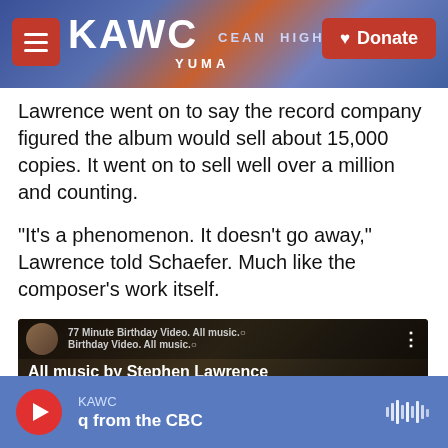[Figure (screenshot): KAWC public radio website header with logo, hamburger menu, and Donate button over a ferris wheel background]
Lawrence went on to say the record company figured the album would sell about 15,000 copies. It went on to sell well over a million and counting.
"It's a phenomenon. It doesn't go away," Lawrence told Schaefer. Much like the composer's work itself.
[Figure (screenshot): YouTube video embed: 77 Minute Birthday Video. All music by Stephen Lawrence, showing gold records and Emmy awards in the thumbnail with a red play button]
[Figure (screenshot): KAWC radio player bar at bottom showing play button, station name KAWC, and show name 'q from the CBC']